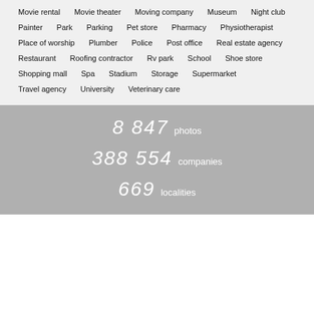Movie rental
Movie theater
Moving company
Museum
Night club
Painter
Park
Parking
Pet store
Pharmacy
Physiotherapist
Place of worship
Plumber
Police
Post office
Real estate agency
Restaurant
Roofing contractor
Rv park
School
Shoe store
Shopping mall
Spa
Stadium
Storage
Supermarket
Travel agency
University
Veterinary care
8 847 photos
388 554 companies
669 localities